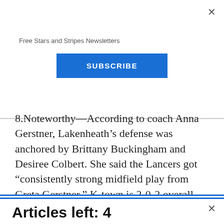Free Stars and Stripes Newsletters
SUBSCRIBE
8.Noteworthy&#8212;According to coach Anna Gerstner, Lakenheath&#8217;s defense was anchored by Brittany Buckingham and Desiree Colbert. She said the Lancers got &#8220;consistently strong midfield play from Greta Gerstner.&#8221; K-town is 2-0-2 overall and in D-I. Lakenheath is 1-4-0 in D-
Articles left: 4
Subscribe to get unlimited access  Subscribe
Already have an account?  Login here